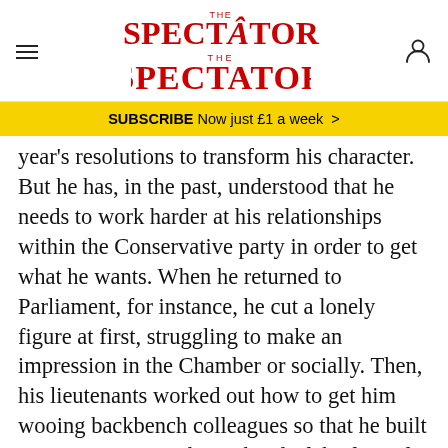THE SPECTATOR
SUBSCRIBE Now just £1 a week >
year's resolutions to transform his character. But he has, in the past, understood that he needs to work harder at his relationships within the Conservative party in order to get what he wants. When he returned to Parliament, for instance, he cut a lonely figure at first, struggling to make an impression in the Chamber or socially. Then, his lieutenants worked out how to get him wooing backbench colleagues so that he built up a proper power base ahead of the first of his leadership bids – and they did so again when that first bid exposed some of the flaws in his character and support.
But even the most severe of Johnson's that he's